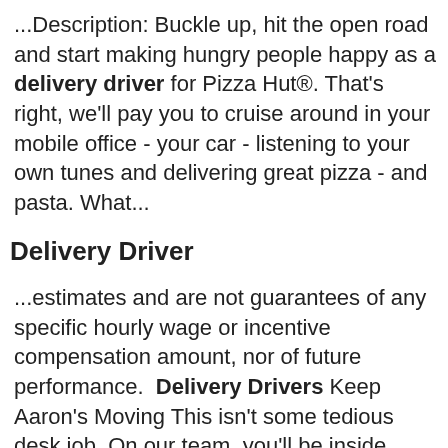...Description: Buckle up, hit the open road and start making hungry people happy as a delivery driver for Pizza Hut®. That's right, we'll pay you to cruise around in your mobile office - your car - listening to your own tunes and delivering great pizza - and pasta. What...
Delivery Driver
...estimates and are not guarantees of any specific hourly wage or incentive compensation amount, nor of future performance.  Delivery Drivers Keep Aaron's Moving This isn't some tedious desk job. On our team, you'll be inside, outside, driving, installing,...
Delivery Driver